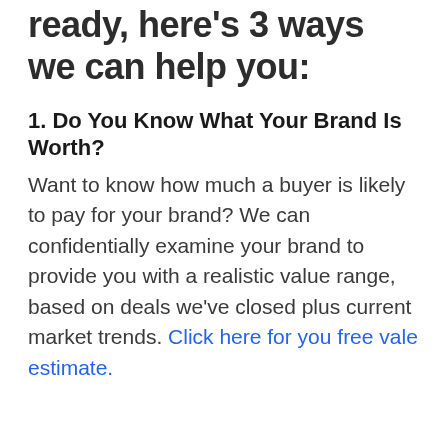ready, here's 3 ways we can help you:
1. Do You Know What Your Brand Is Worth?
Want to know how much a buyer is likely to pay for your brand? We can confidentially examine your brand to provide you with a realistic value range, based on deals we've closed plus current market trends. Click here for you free vale estimate.